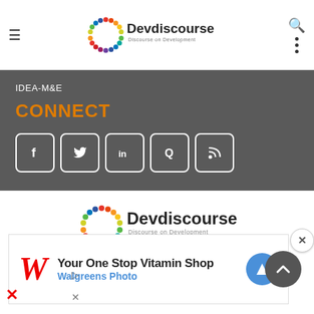[Figure (logo): Devdiscourse logo in header with colorful circle of dots and text 'Discourse on Development']
IDEA-M&E
CONNECT
[Figure (infographic): Row of 5 social media icon boxes: Facebook (f), Twitter (bird), LinkedIn (in), Quora (Q), RSS feed]
[Figure (logo): Devdiscourse footer logo with colorful circle of dots and text 'Discourse on Development']
Email: info@devdiscourse.com
[Figure (screenshot): Walgreens advertisement: 'Your One Stop Vitamin Shop' with Walgreens Photo branding and stylized W logo]